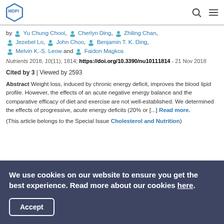[Figure (logo): MDPI logo with hexagon icon]
by Yu Chung Chooi, Cherlyn Ding, Zhiling Chan, Jezebel Lo, John Choo, Benjamin T. K. Ding, Melvin K.-S. Leow and Faidon Magkos
Nutrients 2018, 10(11), 1814; https://doi.org/10.3390/nu10111814 - 21 Nov 2018
Cited by 3 | Viewed by 2593
Abstract Weight loss, induced by chronic energy deficit, improves the blood lipid profile. However, the effects of an acute negative energy balance and the comparative efficacy of diet and exercise are not well-established. We determined the effects of progressive, acute energy deficits (20% or [...] Read more. (This article belongs to the Special Issue Cholesterol and Nutrition)
We use cookies on our website to ensure you get the best experience. Read more about our cookies here.